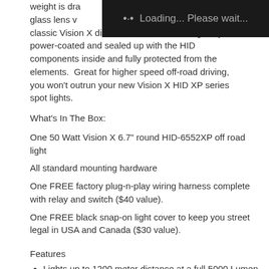weight is drawn... [loading overlay] glass lens v... classic Vision X die cast aluminum housing, fully power-coated and sealed up with the HID components inside and fully protected from the elements.  Great for higher speed off-road driving, you won't outrun your new Vision X HID XP series spot lights.
What's In The Box:
One 50 Watt Vision X 6.7" round HID-6552XP off road light
All standard mounting hardware
One FREE factory plug-n-play wiring harness complete with relay and switch ($40 value).
One FREE black snap-on light cover to keep you street legal in USA and Canada ($30 value).
Features
Lights up to 1200 meter distance at a full 5000 Lumen
Durable Lightweight Poly Carbonate lens
The single stud mounting system provides for easy installation. Knurled aiming knobs